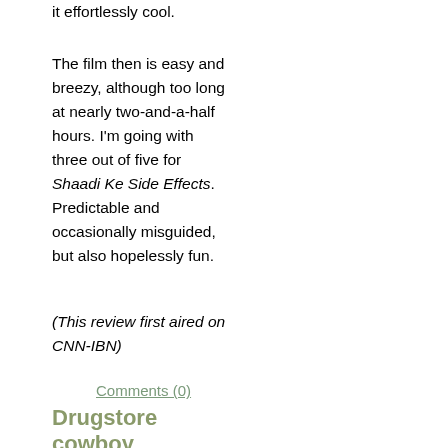it effortlessly cool.
The film then is easy and breezy, although too long at nearly two-and-a-half hours. I'm going with three out of five for Shaadi Ke Side Effects. Predictable and occasionally misguided, but also hopelessly fun.
(This review first aired on CNN-IBN)
Comments (0)
Drugstore cowboy